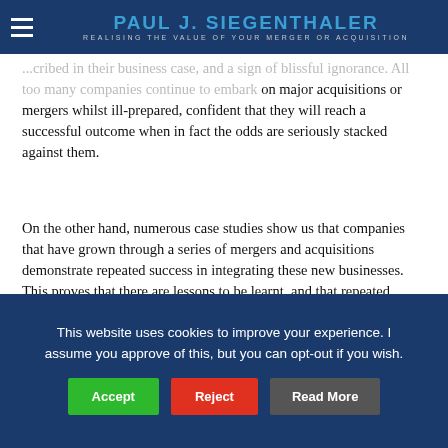PAUL J. SIEGENTHALER – REALISING THE VALUE OF YOUR MERGER OR ACQUISITION
...cribed in their business case, and a sign of blissful ignorance. All too many companies continue to embark on major acquisitions or mergers whilst ill-prepared, confident that they will reach a successful outcome when in fact the odds are seriously stacked against them.
On the other hand, numerous case studies show us that companies that have grown through a series of mergers and acquisitions demonstrate repeated success in integrating these new businesses.  This proves that there are lessons to be learnt, and that repeated experience is essential to be able to plan, prepare and execute a complex integration to deliver a positive and value-creating outcome.
This website uses cookies to improve your experience. I assume you approve of this, but you can opt-out if you wish. Accept | Reject | Read More